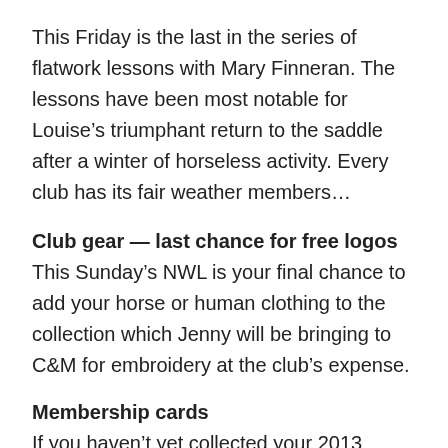This Friday is the last in the series of flatwork lessons with Mary Finneran. The lessons have been most notable for Louise's triumphant return to the saddle after a winter of horseless activity. Every club has its fair weather members…
Club gear — last chance for free logos
This Sunday's NWL is your final chance to add your horse or human clothing to the collection which Jenny will be bringing to C&M for embroidery at the club's expense.
Membership cards
If you haven't yet collected your 2013 membership card from Cormac you can do so at Sunday's NWL at Templemore. They're burning a hole in his britches so please alleviate him of his responsibility!